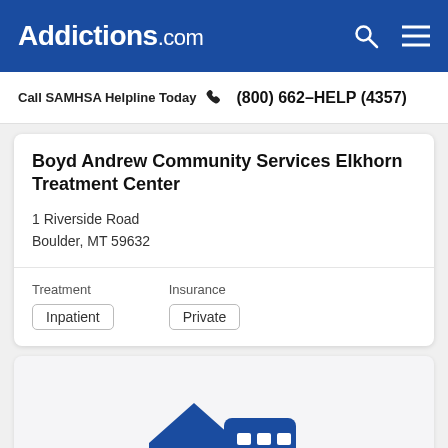Addictions.com
Call SAMHSA Helpline Today  (800) 662-HELP (4357)
Boyd Andrew Community Services Elkhorn Treatment Center
1 Riverside Road
Boulder, MT 59632
Treatment: Inpatient
Insurance: Private
[Figure (illustration): Blue icon of a house and building representing a treatment facility]